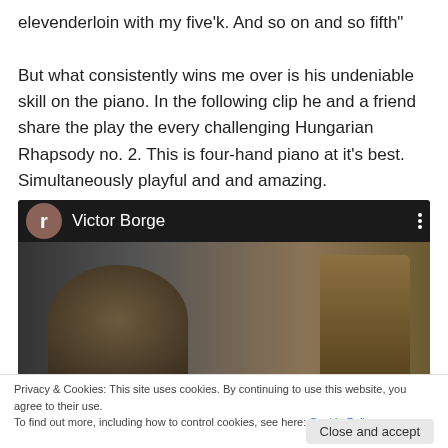elevenderloin with my five'k. And so on and so fifth"
But what consistently wins me over is his undeniable skill on the piano. In the following clip he and a friend share the play the every challenging Hungarian Rhapsody no. 2. This is four-hand piano at it's best.  Simultaneously playful and and amazing.
[Figure (screenshot): Video thumbnail showing Victor Borge playing piano with a friend, with a circular avatar icon marked 'r' and title 'Victor Borge' at the top, three-dot menu icon at top right.]
Privacy & Cookies: This site uses cookies. By continuing to use this website, you agree to their use.
To find out more, including how to control cookies, see here: Cookie Policy
Close and accept